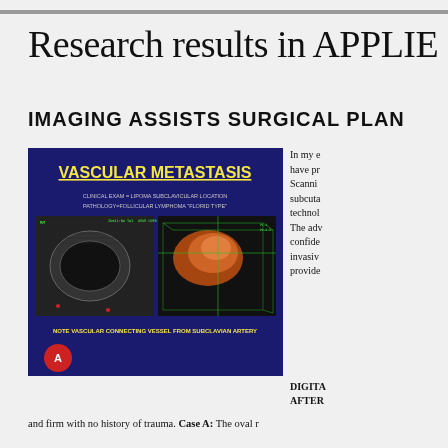Research results in APPLIE
IMAGING ASSISTS SURGICAL PLAN
[Figure (photo): Medical ultrasound image titled 'VASCULAR METASTASIS' showing clinical exam lipoma subclavicular location, pathology follicular lymphoma florid type. Left panel shows 2D ultrasound of circular lesion, right panel shows 3D rendered image. Note at bottom reads: NOTE VASCULAR CONNECTING VESSEL FROM SUBCLAVIAN ARTERY. Label A in red circle at bottom left.]
In my e have pr Scanni subcuta technol The adv confide invasiv provide
DIGITA AFTER
and firm with no history of trauma. Case A: The oval r